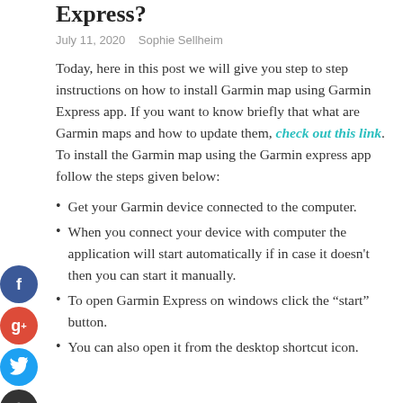Express?
July 11, 2020   Sophie Sellheim
Today, here in this post we will give you step to step instructions on how to install Garmin map using Garmin Express app. If you want to know briefly that what are Garmin maps and how to update them, check out this link. To install the Garmin map using the Garmin express app follow the steps given below:
Get your Garmin device connected to the computer.
When you connect your device with computer the application will start automatically if in case it doesn't then you can start it manually.
To open Garmin Express on windows click the “start” button.
You can also open it from the desktop shortcut icon.